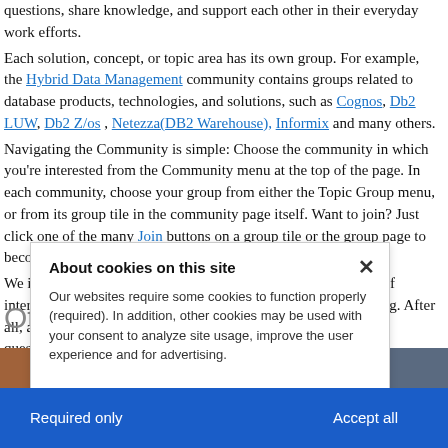questions, share knowledge, and support each other in their everyday work efforts.
Each solution, concept, or topic area has its own group. For example, the Hybrid Data Management community contains groups related to database products, technologies, and solutions, such as Cognos, Db2 LUW, Db2 Z/os, Netezza(DB2 Warehouse), Informix and many others.
Navigating the Community is simple: Choose the community in which you're interested from the Community menu at the top of the page. In each community, choose your group from either the Topic Group menu, or from its group tile in the community page itself. Want to join? Just click one of the many Join buttons on a group tile or the group page to become a member!
We invite you to come explore the community, join the groups of interest to you, and participate in the discussions that are ongoing. After all, a community space is the best place to get answers to your questions.
Other sites to explore
[Figure (screenshot): Cookie consent overlay dialog with title 'About cookies on this site', body text about cookies required and optional, links for Cookie preferences and IBM's privacy statement, close X button, and blue bottom bar with 'Required only' and 'Accept all' buttons]
[Figure (photo): Photo strip showing three images side by side at the bottom of the page]